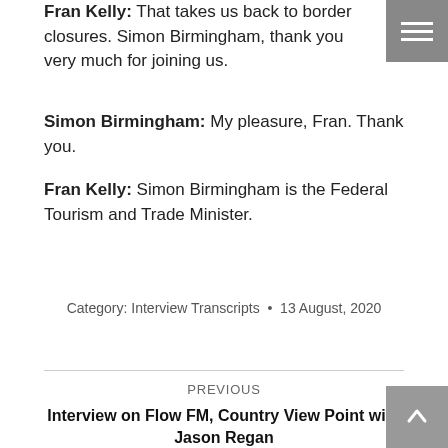Fran Kelly: That takes us back to border closures. Simon Birmingham, thank you very much for joining us.
Simon Birmingham: My pleasure, Fran. Thank you.
Fran Kelly: Simon Birmingham is the Federal Tourism and Trade Minister.
Category: Interview Transcripts · 13 August, 2020
PREVIOUS
Interview on Flow FM, Country View Point with Jason Regan
NEXT
Interview on ABC Eyre Peninsula and West Coast